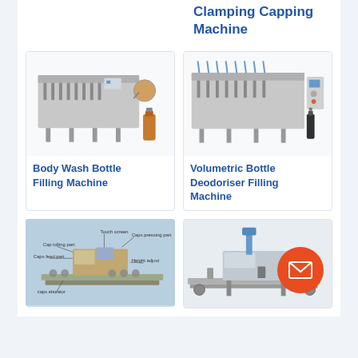Clamping Capping Machine
[Figure (photo): Body Wash Bottle Filling Machine - industrial multi-nozzle filling machine with a bottle of sauce/liquid product beside it]
Body Wash Bottle Filling Machine
[Figure (photo): Volumetric Bottle Deodoriser Filling Machine - industrial filling machine with multiple nozzles and a black bottle beside it]
Volumetric Bottle Deodoriser Filling Machine
[Figure (photo): Capping machine with labeled parts: Touch screen, Caps pressing part, Caps feed part, Height adjust, Caps elevator, Cap lofting part]
[Figure (photo): Industrial capping/sealing machine on conveyor system]